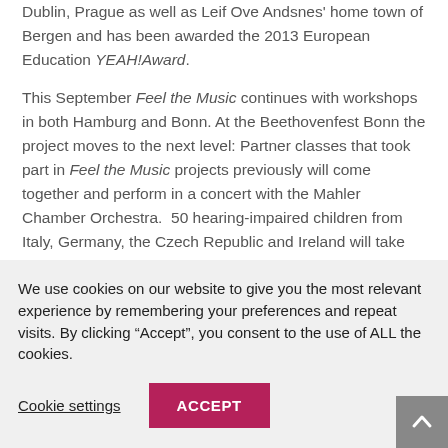Dublin, Prague as well as Leif Ove Andsnes' home town of Bergen and has been awarded the 2013 European Education YEAH!Award.
This September Feel the Music continues with workshops in both Hamburg and Bonn. At the Beethovenfest Bonn the project moves to the next level: Partner classes that took part in Feel the Music projects previously will come together and perform in a concert with the Mahler Chamber Orchestra.  50 hearing-impaired children from Italy, Germany, the Czech Republic and Ireland will take part in this new project which coincides with the
We use cookies on our website to give you the most relevant experience by remembering your preferences and repeat visits. By clicking "Accept", you consent to the use of ALL the cookies.
Cookie settings
ACCEPT